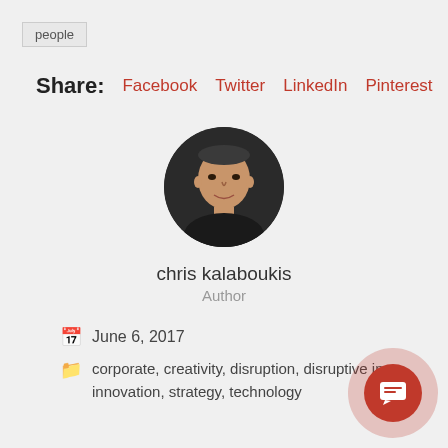people
Share: Facebook Twitter LinkedIn Pinterest Tumblr
[Figure (photo): Circular headshot photo of a middle-aged man with short dark hair, wearing a dark top, against a dark background]
chris kalaboukis
Author
June 6, 2017
corporate, creativity, disruption, disruptive innovation, strategy, technology